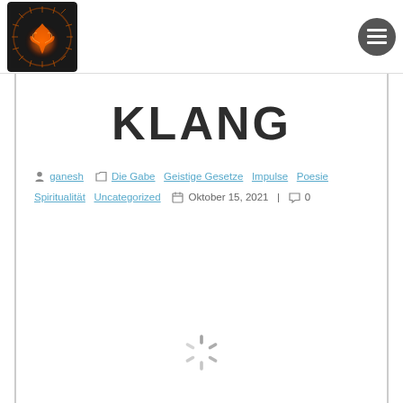Logo and navigation menu
KLANG
ganesh  Die Gabe  Geistige Gesetze  Impulse  Poesie  Spiritualität  Uncategorized  Oktober 15, 2021  |  0
[Figure (illustration): Loading spinner animation at bottom center of page]